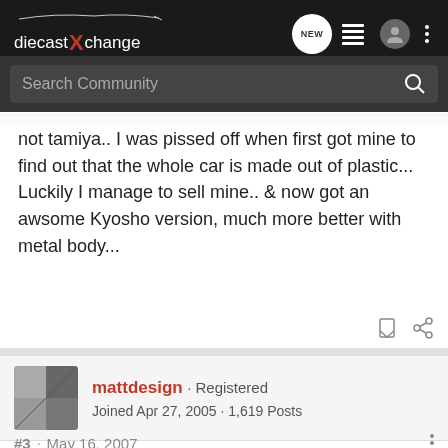[Figure (screenshot): DiecastXchange forum website header with logo, NEW chat bubble icon, list icon, user icon, and three-dot menu icon]
not tamiya.. I was pissed off when first got mine to find out that the whole car is made out of plastic... Luckily I manage to sell mine.. & now got an awsome Kyosho version, much more better with metal body...
mattdesign · Registered
Joined Apr 27, 2005 · 1,619 Posts
#3 · May 16, 2007
mastersleep said:
<{POST_SNAPBACK}>[/post][/right]